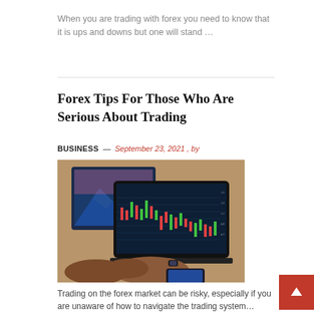When you are trading with forex you need to know that it is ups and downs but one will stand …
Forex Tips For Those Who Are Serious About Trading
BUSINESS — September 23, 2021 , by
[Figure (photo): Person using a laptop showing forex trading charts, with additional monitor in background and smartphone on desk]
Trading on the forex market can be risky, especially if you are unaware of how to navigate the trading system…